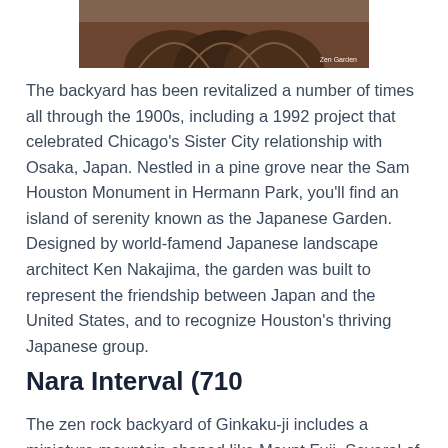[Figure (photo): Partial photo of a building with arched architectural features, labeled 'Zen Garden' in the bottom right corner]
The backyard has been revitalized a number of times all through the 1900s, including a 1992 project that celebrated Chicago's Sister City relationship with Osaka, Japan. Nestled in a pine grove near the Sam Houston Monument in Hermann Park, you'll find an island of serenity known as the Japanese Garden. Designed by world-famend Japanese landscape architect Ken Nakajima, the garden was built to represent the friendship between Japan and the United States, and to recognize Houston's thriving Japanese group.
Nara Interval (710
The zen rock backyard of Ginkaku-ji includes a miniature mountain shaped like Mount Fuji. Several of the well-known zen gardens of Kyoto had been the work of one man; Musō Soseki (1275−1351). He was answerable for